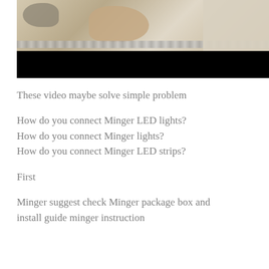[Figure (photo): A person's hands working with LED strip lights and components on a table. The bottom portion of the video frame shows a black bar (video player control area). There are LED strips and packaging visible.]
These video maybe solve simple problem
How do you connect Minger LED lights?
How do you connect Minger lights?
How do you connect Minger LED strips?
First
Minger suggest check Minger package box and install guide minger instruction